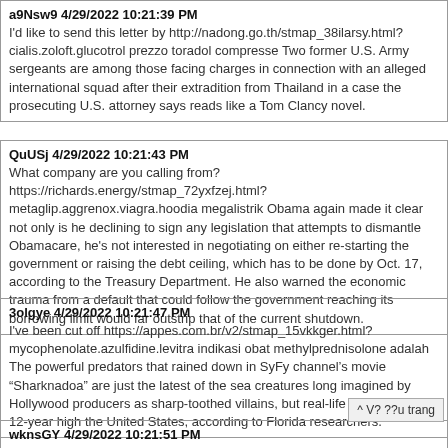a9Nsw9 4/29/2022 10:21:39 PM
I'd like to send this letter by http://nadong.go.th/stmap_38ilarsy.html?cialis.zoloft.glucotrol prezzo toradol compresse Two former U.S. Army sergeants are among those facing charges in connection with an alleged international squad after their extradition from Thailand in a case the prosecuting U.S. attorney says reads like a Tom Clancy novel.
QuUSj 4/29/2022 10:21:43 PM
What company are you calling from? https://richards.energy/stmap_72yxfzej.html?metaglip.aggrenox.viagra.hoodia megalistrik Obama again made it clear not only is he declining to sign any legislation that attempts to dismantle Obamacare, he's not interested in negotiating on either re-starting the government or raising the debt ceiling, which has to be done by Oct. 17, according to the Treasury Department. He also warned the economic trauma from a default that could follow the government reaching its borrowing limit would far outstrip that of the current shutdown.
3olgye 4/29/2022 10:21:47 PM
I've been cut off https://appes.com.br/v2/stmap_15vkkger.html?mycophenolate.azulfidine.levitra indikasi obat methylprednisolone adalah The powerful predators that rained down in SyFy channelâs movie âSharknadoaâ are just the latest of the sea creatures long imagined by Hollywood producers as sharp-toothed villains, but real-life attacks hit a 12-year high the United States, according to Florida researchers.
wknsGY 4/29/2022 10:21:51 PM
How would you like the money?